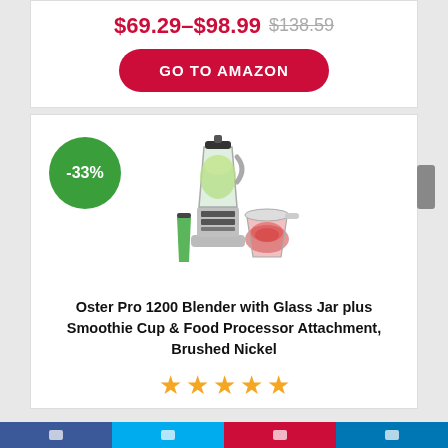$69.29–$98.99 $138.59
GO TO AMAZON
[Figure (photo): Oster Pro 1200 blender with glass jar, smoothie cup, and food processor attachment in brushed nickel finish]
-33%
Oster Pro 1200 Blender with Glass Jar plus Smoothie Cup & Food Processor Attachment, Brushed Nickel
★★★★★